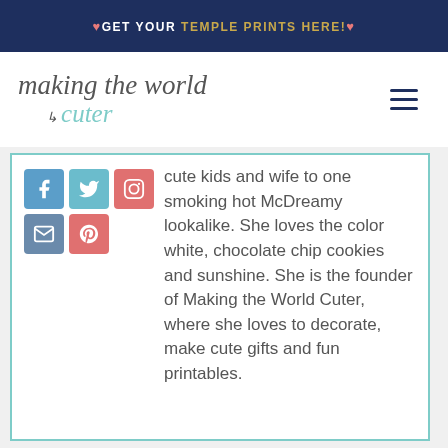❤GET YOUR TEMPLE PRINTS HERE!❤
[Figure (logo): Making the World Cuter blog logo in cursive/italic text with teal 'cuter' and arrow]
[Figure (infographic): Social media icons: Facebook, Twitter, Instagram, Email, Pinterest]
cute kids and wife to one smoking hot McDreamy lookalike. She loves the color white, chocolate chip cookies and sunshine. She is the founder of Making the World Cuter, where she loves to decorate, make cute gifts and fun printables.